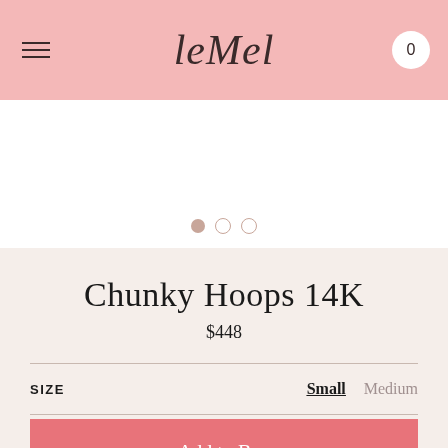leMel — navigation header with hamburger menu and cart (0)
[Figure (other): Product image area (white background) with three pagination dots below — one filled (rosé/mauve), two empty outline circles]
Chunky Hoops 14K
$448
SIZE   Small   Medium
Add to Bag